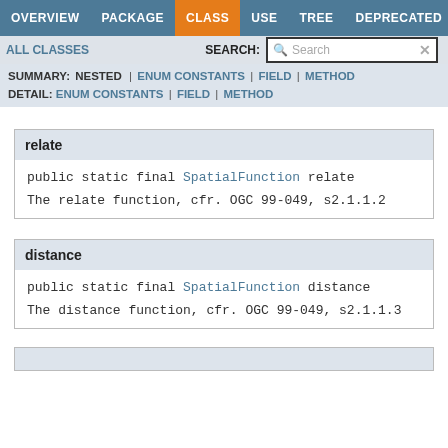OVERVIEW | PACKAGE | CLASS | USE | TREE | DEPRECATED
ALL CLASSES   SEARCH: [Search]
SUMMARY: NESTED | ENUM CONSTANTS | FIELD | METHOD
DETAIL: ENUM CONSTANTS | FIELD | METHOD
relate
public static final SpatialFunction relate
The relate function, cfr. OGC 99-049, s2.1.1.2
distance
public static final SpatialFunction distance
The distance function, cfr. OGC 99-049, s2.1.1.3